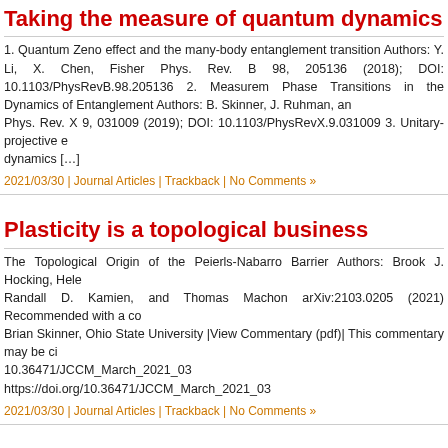Taking the measure of quantum dynamics
1. Quantum Zeno effect and the many-body entanglement transition Authors: Y. Li, X. Chen, Fisher Phys. Rev. B 98, 205136 (2018); DOI: 10.1103/PhysRevB.98.205136 2. Measurement Phase Transitions in the Dynamics of Entanglement Authors: B. Skinner, J. Ruhman, and Phys. Rev. X 9, 031009 (2019); DOI: 10.1103/PhysRevX.9.031009 3. Unitary-projective entanglement dynamics [...]
2021/03/30 | Journal Articles | Trackback | No Comments »
Plasticity is a topological business
The Topological Origin of the Peierls-Nabarro Barrier Authors: Brook J. Hocking, Helen Randall D. Kamien, and Thomas Machon arXiv:2103.0205 (2021) Recommended with a commentary by Brian Skinner, Ohio State University |View Commentary (pdf)| This commentary may be cited as: doi: 10.36471/JCCM_March_2021_03 https://doi.org/10.36471/JCCM_March_2021_03
2021/03/30 | Journal Articles | Trackback | No Comments »
Correlation Energy in the Unfamiliar Realm of Capacitors and Batteries